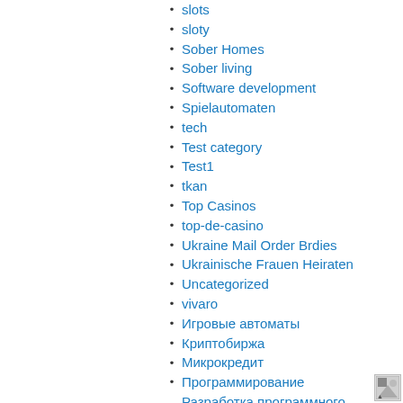slots
sloty
Sober Homes
Sober living
Software development
Spielautomaten
tech
Test category
Test1
tkan
Top Casinos
top-de-casino
Ukraine Mail Order Brdies
Ukrainische Frauen Heiraten
Uncategorized
vivaro
Игровые автоматы
Криптобиржа
Микрокредит
Программирование
Разработка программного обеспечения
Финансовые Новости
Финансы Украины
Финтех
Форекс
Форекс брокеры
Форекс Обучение
Форекс Обучения
META
Log in
Entries feed
Comments feed
[Figure (other): Small image icon in the bottom right corner]